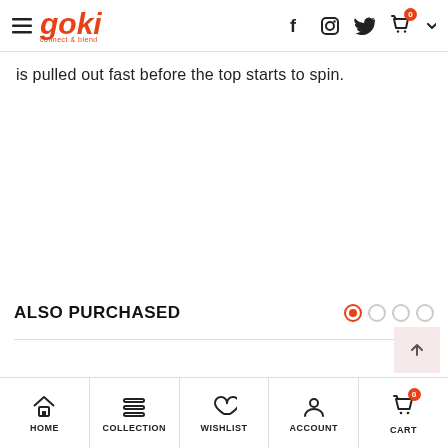goki — connect & bleed (logo), hamburger menu, social icons (Facebook, Instagram, Twitter), cart (0), chevron
is pulled out fast before the top starts to spin.
ALSO PURCHASED
HOME | COLLECTION | WISHLIST | ACCOUNT | CART (0)